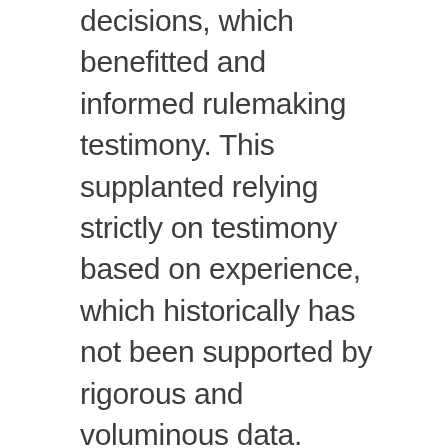decisions, which benefitted and informed rulemaking testimony. This supplanted relying strictly on testimony based on experience, which historically has not been supported by rigorous and voluminous data. Bringing such expertise and information to light resulted in stakeholder clarity, overcoming confusion brought about by the uncertainty of personal expert testimony. Important benefits result: more stakeholder agreement on outcomes; better decision-making from a position of information; and aligned policy decisions for the greater good of community and environment. By continuing to benchmark and now bring solid data fully into public CCR industry scenarios, AECOM has been able to demonstrate – rather than suggest – best outcomes and better understanding of regulated community decision-